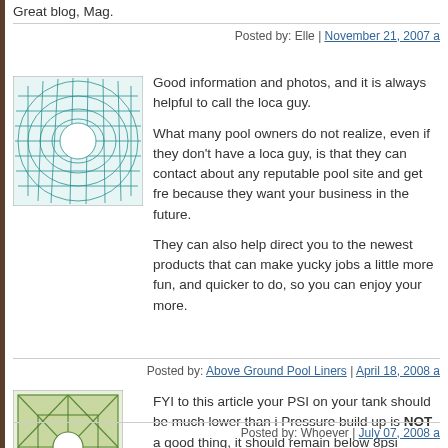Great blog, Mag.
Posted by: Elle | November 21, 2007 a
[Figure (illustration): Teal/cyan geometric grid avatar image for commenter]
Good information and photos, and it is always helpful to call the loca guy.
What many pool owners do not realize, even if they don't have a loca guy, is that they can contact about any reputable pool site and get fre because they want your business in the future.
They can also help direct you to the newest products that can make yucky jobs a little more fun, and quicker to do, so you can enjoy your more.
Posted by: Above Ground Pool Liners | April 18, 2008 a
[Figure (illustration): Green geometric star/grid pattern avatar image for commenter Whoever]
FYI to this article your PSI on your tank should be much lower than i Pressure build up is NOT a good thing, it should remain below 8psi
Posted by: Whoever | July 07, 2008 a
[Figure (illustration): Green mosaic/stone pattern avatar image for last commenter]
If you have a silver band around a big round thing between the pump into holes that bolt to the black, take it off the screw. Just take the